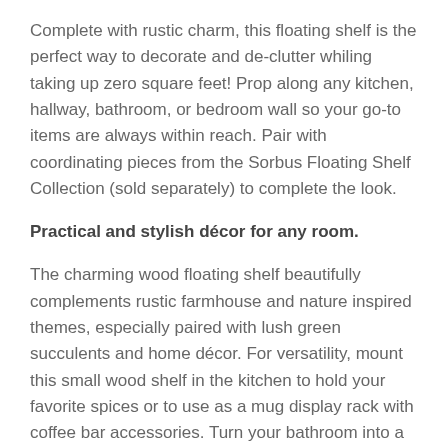Complete with rustic charm, this floating shelf is the perfect way to decorate and de-clutter whiling taking up zero square feet! Prop along any kitchen, hallway, bathroom, or bedroom wall so your go-to items are always within reach. Pair with coordinating pieces from the Sorbus Floating Shelf Collection (sold separately) to complete the look.
Practical and stylish décor for any room.
The charming wood floating shelf beautifully complements rustic farmhouse and nature inspired themes, especially paired with lush green succulents and home décor. For versatility, mount this small wood shelf in the kitchen to hold your favorite spices or to use as a mug display rack with coffee bar accessories. Turn your bathroom into a spa-like retreat with bath toiletries on the shelf and hang linens on the bar rail for towel rack storage. This floating shelf also make the perfect hub for mail and keys by the front door or